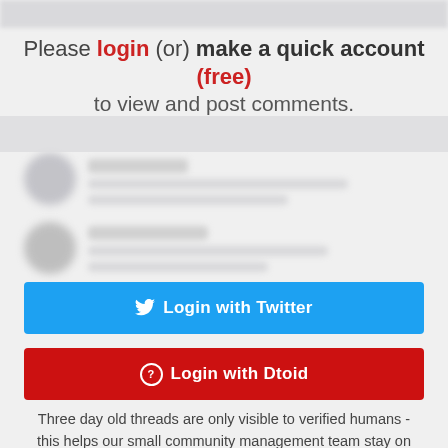[Figure (screenshot): Blurred top navigation bar of a website]
Please login (or) make a quick account (free) to view and post comments.
[Figure (screenshot): Blurred user avatar and comment content, first row]
[Figure (screenshot): Blurred user avatar and comment content, second row]
Login with Twitter
Login with Dtoid
[Figure (screenshot): Blurred user avatar and comment content, third row]
Three day old threads are only visible to verified humans - this helps our small community management team stay on top of spam
Sorry for the extra step!